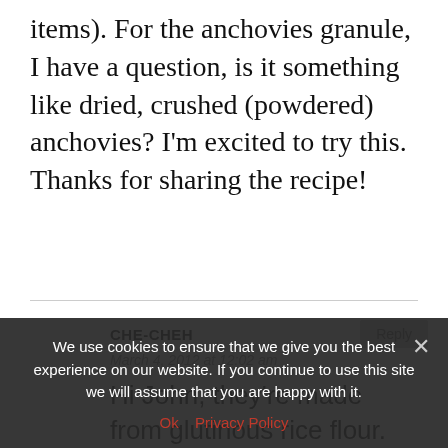items). For the anchovies granule, I have a question, is it something like dried, crushed (powdered) anchovies? I'm excited to try this. Thanks for sharing the recipe!
CHE-CHEH
March 4, 2012 at 12:02 am
Hi John, they're made from glutinous rice flour. It's processed anchovies in small round granule form. You can sub it with chicken/the finest available stock granule.
We use cookies to ensure that we give you the best experience on our website. If you continue to use this site we will assume that you are happy with it.
Ok   Privacy Policy